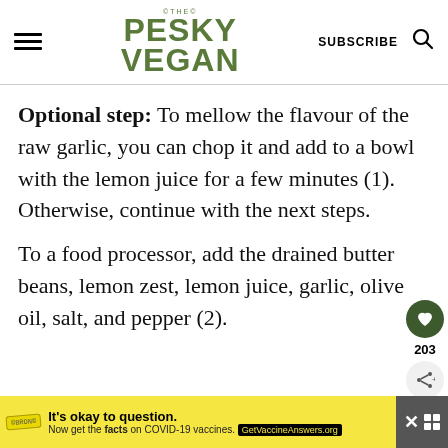THE PESKY VEGAN — SUBSCRIBE
Optional step: To mellow the flavour of the raw garlic, you can chop it and add to a bowl with the lemon juice for a few minutes (1). Otherwise, continue with the next steps.
To a food processor, add the drained butter beans, lemon zest, lemon juice, garlic, olive oil, salt, and pepper (2).
[Figure (other): Yellow advertisement banner: It's okay to question. Now get the facts on COVID-19 vaccines. GetVaccineAnswers.org]